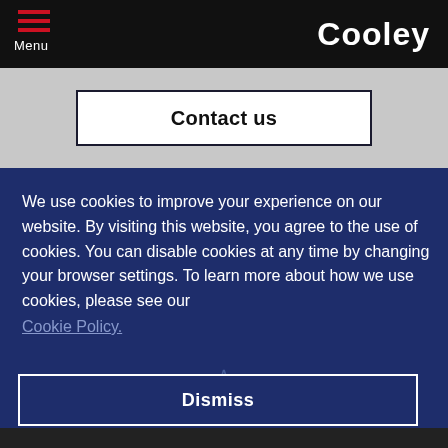Menu | Cooley
Contact us
We use cookies to improve your experience on our website. By visiting this website, you agree to the use of cookies. You can disable cookies at any time by changing your browser settings. To learn more about how we use cookies, please see our
Cookie Policy.
Dismiss